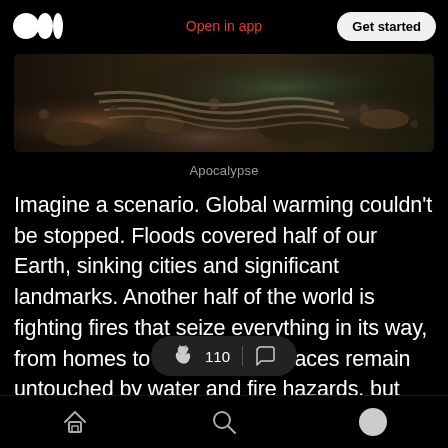Open in app | Get started
[Figure (photo): Dark rocky landscape with stones and debris, post-apocalyptic scene]
Apocalypse
Imagine a scenario. Global warming couldn't be stopped. Floods covered half of our Earth, sinking cities and significant landmarks. Another half of the world is fighting fires that seize everything in its way, from homes to people. Few places remain untouched by water and fire hazards, but frost absorbs the last [places] to survive. Everyone is dying, the remaining ones fighting
Home | Search | Profile